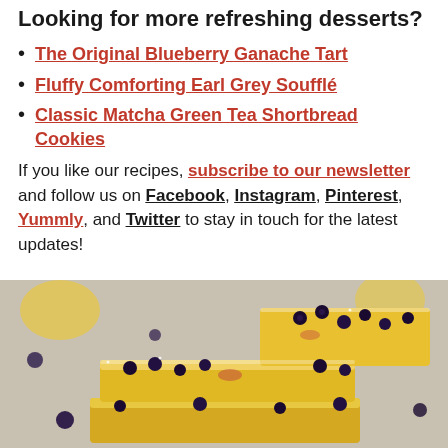Looking for more refreshing desserts?
The Original Blueberry Ganache Tart
Fluffy Comforting Earl Grey Soufflé
Classic Matcha Green Tea Shortbread Cookies
If you like our recipes, subscribe to our newsletter and follow us on Facebook, Instagram, Pinterest, Yummly, and Twitter to stay in touch for the latest updates!
[Figure (photo): Stack of lemon blueberry bars dusted with powdered sugar, arranged in a stack on a light background with scattered fresh blueberries]